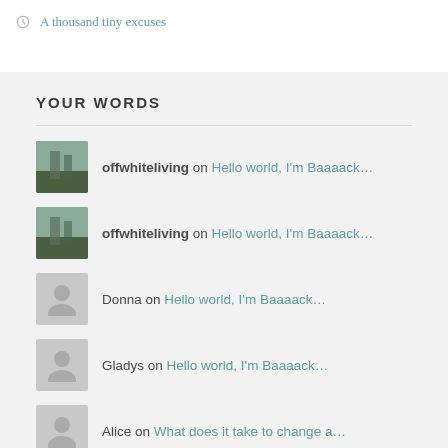A thousand tiny excuses
YOUR WORDS
offwhiteliving on Hello world, I'm Baaaack...
offwhiteliving on Hello world, I'm Baaaack...
Donna on Hello world, I'm Baaaack...
Gladys on Hello world, I'm Baaaack...
Alice on What does it take to change a...
ON TWITTER